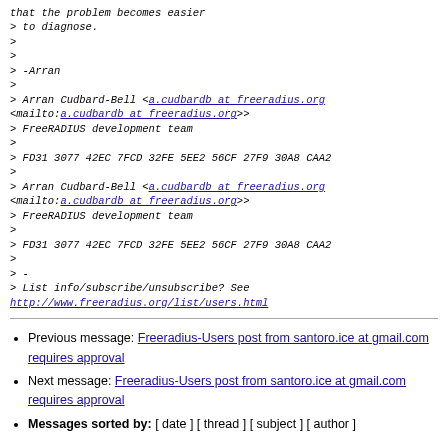that the problem becomes easier
> to diagnose.
>
>
> -Arran
>
> Arran Cudbard-Bell <a.cudbardb at freeradius.org <mailto:a.cudbardb at freeradius.org>>
> FreeRADIUS development team
>
> FD31 3077 42EC 7FCD 32FE 5EE2 56CF 27F9 30A8 CAA2
>
> Arran Cudbard-Bell <a.cudbardb at freeradius.org <mailto:a.cudbardb at freeradius.org>>
> FreeRADIUS development team
>
> FD31 3077 42EC 7FCD 32FE 5EE2 56CF 27F9 30A8 CAA2
>
> -
> List info/subscribe/unsubscribe? See http://www.freeradius.org/list/users.html
Previous message: Freeradius-Users post from santoro.ice at gmail.com requires approval
Next message: Freeradius-Users post from santoro.ice at gmail.com requires approval
Messages sorted by: [ date ] [ thread ] [ subject ] [ author ]